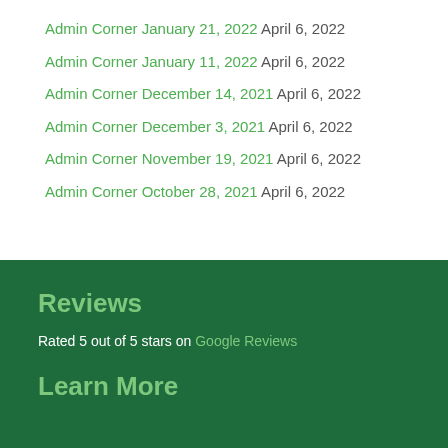Admin Corner January 21, 2022 April 6, 2022
Admin Corner January 11, 2022 April 6, 2022
Admin Corner December 14, 2021 April 6, 2022
Admin Corner December 3, 2021 April 6, 2022
Admin Corner November 19, 2021 April 6, 2022
Admin Corner October 28, 2021 April 6, 2022
Reviews
Rated 5 out of 5 stars on Google Reviews
Learn More